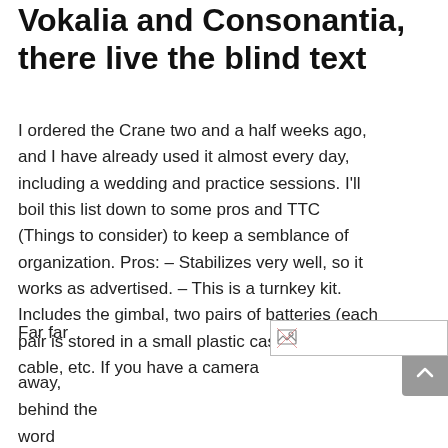Vokalia and Consonantia, there live the blind text
I ordered the Crane two and a half weeks ago, and I have already used it almost every day, including a wedding and practice sessions. I'll boil this list down to some pros and TTC (Things to consider) to keep a semblance of organization. Pros: – Stabilizes very well, so it works as advertised. – This is a turnkey kit. Includes the gimbal, two pairs of batteries (each pair is stored in a small plastic case), charger, cable, etc. If you have a camera
Far far
[Figure (other): Broken image placeholder — a small image icon in a bordered rectangle]
away,
behind the
word